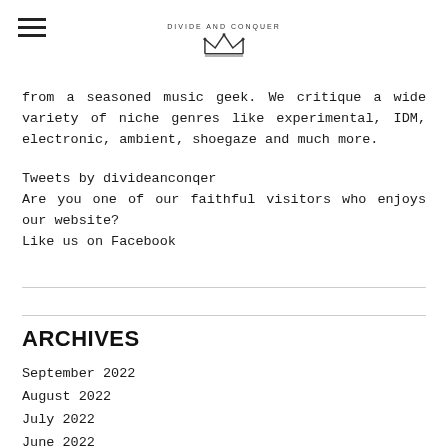DIVIDE AND CONQUER
from a seasoned music geek. We critique a wide variety of niche genres like experimental, IDM, electronic, ambient, shoegaze and much more.
Tweets by divideanconqer
Are you one of our faithful visitors who enjoys our website?
Like us on Facebook
ARCHIVES
September 2022
August 2022
July 2022
June 2022
May 2022